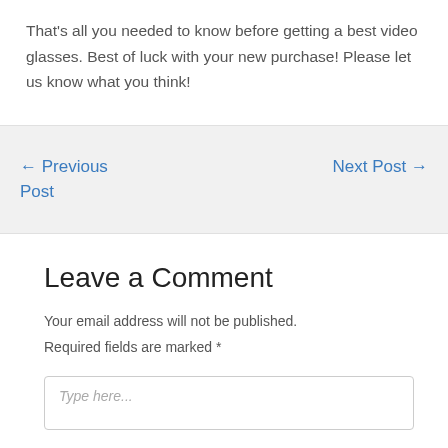That's all you needed to know before getting a best video glasses. Best of luck with your new purchase! Please let us know what you think!
← Previous Post
Next Post →
Leave a Comment
Your email address will not be published.
Required fields are marked *
Type here...